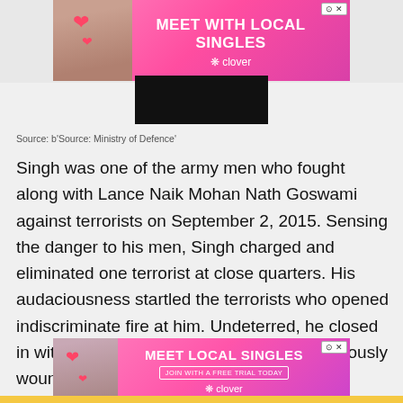[Figure (photo): Advertisement banner - Meet With Local Singles, Clover app, pink gradient background with woman photo]
[Figure (photo): Dark/black image partial view]
Source: b'Source: Ministry of Defence'
Singh was one of the army men who fought along with Lance Naik Mohan Nath Goswami against terrorists on September 2, 2015. Sensing the danger to his men, Singh charged and eliminated one terrorist at close quarters. His audaciousness startled the terrorists who opened indiscriminate fire at him. Undeterred, he closed in with the terrorists when one terrorist grievously wounded him in the abdomen.
[Figure (photo): Advertisement banner - Meet Local Singles, Join With a Free Trial Today, Clover app, pink gradient background with woman photo]